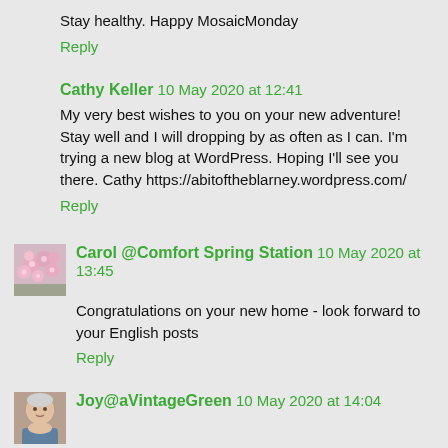Stay healthy. Happy MosaicMonday
Reply
Cathy Keller 10 May 2020 at 12:41
My very best wishes to you on your new adventure! Stay well and I will dropping by as often as I can. I'm trying a new blog at WordPress. Hoping I'll see you there. Cathy https://abitoftheblarney.wordpress.com/
Reply
Carol @Comfort Spring Station 10 May 2020 at 13:45
Congratulations on your new home - look forward to your English posts
Reply
Joy@aVintageGreen 10 May 2020 at 14:04